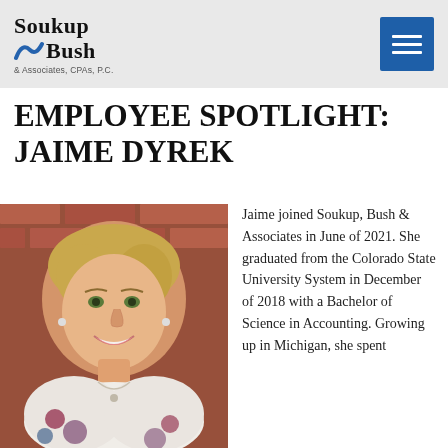Soukup Bush & Associates, CPAs, P.C.
EMPLOYEE SPOTLIGHT: JAIME DYREK
[Figure (photo): Portrait photo of Jaime Dyrek, a smiling woman with blonde hair, wearing a floral blouse and necklace, posed in front of a brick wall background.]
Jaime joined Soukup, Bush & Associates in June of 2021. She graduated from the Colorado State University System in December of 2018 with a Bachelor of Science in Accounting. Growing up in Michigan, she spent